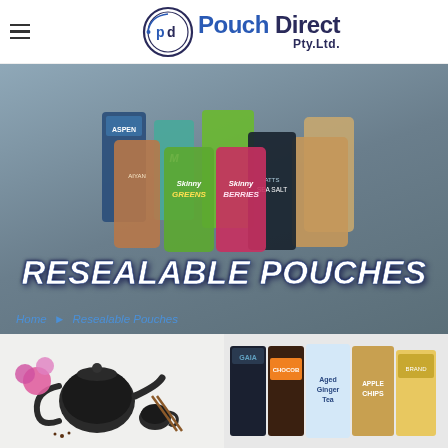Pouch Direct Pty. Ltd. — navigation header with hamburger menu and logo
[Figure (photo): Hero banner showing various resealable pouches (Aiyan, Skinny Greens, Skinny Berries, ATTS Sea Salt, and other branded stand-up pouches) on a grey-blue background]
RESEALABLE POUCHES
Home > Resealable Pouches
[Figure (photo): Black cast iron teapot with cups, pink flower, and tea leaves on white background]
[Figure (photo): Multiple branded resealable pouches including Gaia, Chocob, Aged Ginger Tea, Apple Chips and other products]